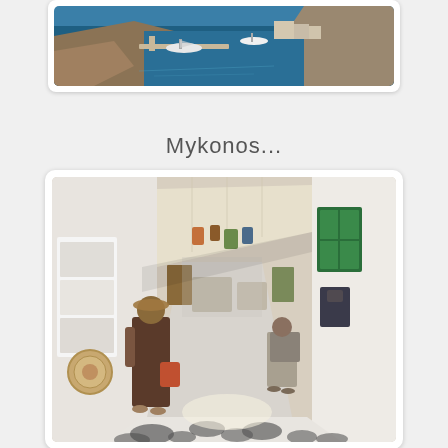[Figure (photo): Aerial/overhead view of a marina or harbor with deep blue water, boats, and rocky terrain — partial view at top of page]
Mykonos...
[Figure (photo): Street scene in Mykonos showing a narrow shopping alley with whitewashed walls, colorful goods and souvenirs displayed, tourists browsing shops, patterned black-and-white cobblestone floor, awnings overhead]